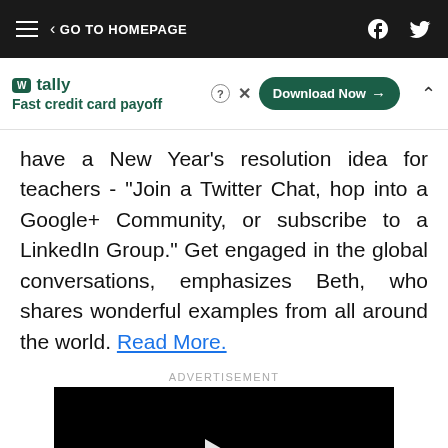GO TO HOMEPAGE
[Figure (screenshot): Tally app advertisement banner with logo, tagline 'Fast credit card payoff', and 'Download Now' button]
have a New Year's resolution idea for teachers - "Join a Twitter Chat, hop into a Google+ Community, or subscribe to a LinkedIn Group." Get engaged in the global conversations, emphasizes Beth, who shares wonderful examples from all around the world. Read More.
ADVERTISEMENT
[Figure (screenshot): Black video player with white play button triangle in center]